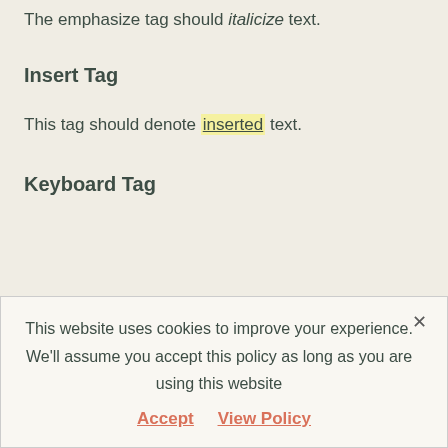The emphasize tag should italicize text.
Insert Tag
This tag should denote inserted text.
Keyboard Tag
This website uses cookies to improve your experience. We'll assume you accept this policy as long as you are using this website
Accept   View Policy